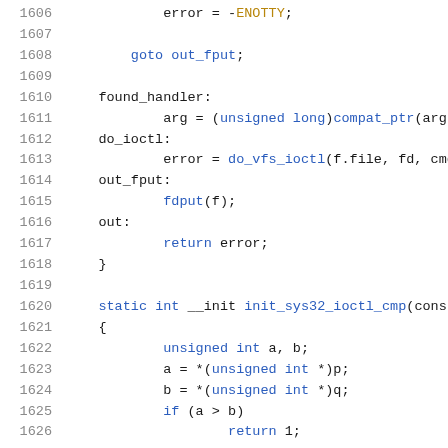Source code listing, lines 1606-1626, showing C kernel code including error handling, goto statements, labels (found_handler, do_ioctl, out_fput, out), function calls (compat_ptr, do_vfs_ioctl, fdput), and static init function init_sys32_ioctl_cmp.